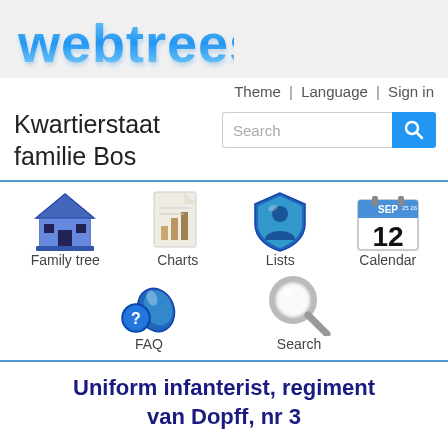[Figure (logo): Webtrees logo in blue bubble/3D text style]
Theme | Language | Sign in
Kwartierstaat familie Bos
[Figure (screenshot): Search input box with blue search button and magnifying glass icon]
[Figure (infographic): Navigation icons: Family tree (house icon), Charts (bar chart icon), Lists (shield/person icon), Calendar (SEP 12 calendar icon), FAQ (mouse with question mark icon), Search (magnifying glass icon)]
Uniform infanterist, regiment van Dopff, nr 3